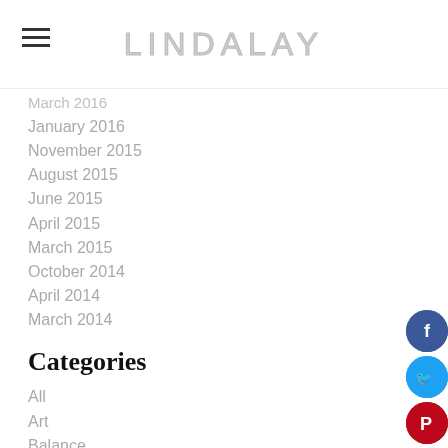LINDALAY
March 2016
January 2016
November 2015
August 2015
June 2015
April 2015
March 2015
October 2014
April 2014
March 2014
Categories
All
Art
Balance
Blogging
Crone
Health